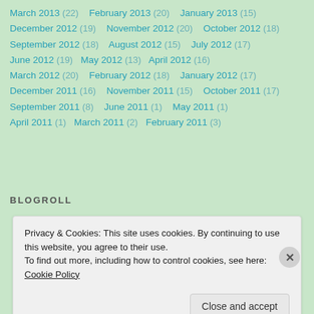March 2013 (22)   February 2013 (20)   January 2013 (15)
December 2012 (19)   November 2012 (20)   October 2012 (18)
September 2012 (18)   August 2012 (15)   July 2012 (17)
June 2012 (19)   May 2012 (13)   April 2012 (16)
March 2012 (20)   February 2012 (18)   January 2012 (17)
December 2011 (16)   November 2011 (15)   October 2011 (17)
September 2011 (8)   June 2011 (1)   May 2011 (1)
April 2011 (1)   March 2011 (2)   February 2011 (3)
BLOGROLL
Privacy & Cookies: This site uses cookies. By continuing to use this website, you agree to their use.
To find out more, including how to control cookies, see here: Cookie Policy